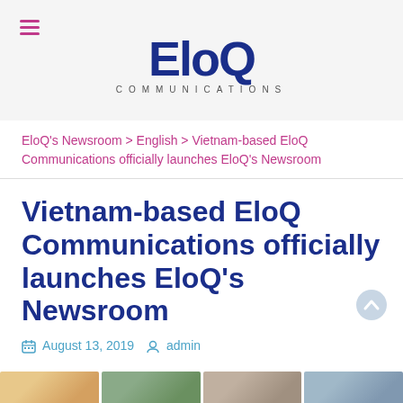EloQ Communications
EloQ's Newsroom > English > Vietnam-based EloQ Communications officially launches EloQ's Newsroom
Vietnam-based EloQ Communications officially launches EloQ's Newsroom
August 13, 2019  admin
[Figure (photo): Strip of four thumbnail images at the bottom of the page]